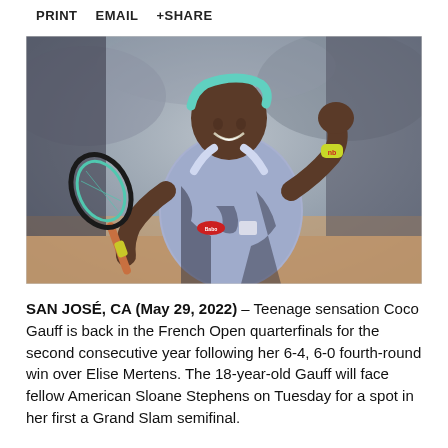PRINT   EMAIL   +SHARE
[Figure (photo): Coco Gauff smiling and celebrating on a clay court, holding a tennis racket over her shoulder, wearing a light blue/purple New Balance outfit and a teal headband, raising her right fist.]
SAN JOSÉ, CA (May 29, 2022) – Teenage sensation Coco Gauff is back in the French Open quarterfinals for the second consecutive year following her 6-4, 6-0 fourth-round win over Elise Mertens. The 18-year-old Gauff will face fellow American Sloane Stephens on Tuesday for a spot in her first a Grand Slam semifinal.